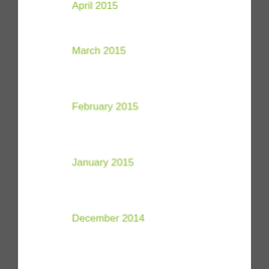April 2015
March 2015
February 2015
January 2015
December 2014
November 2014
October 2014
September 2014
August 2014
June 2014
May 2014
April 2014